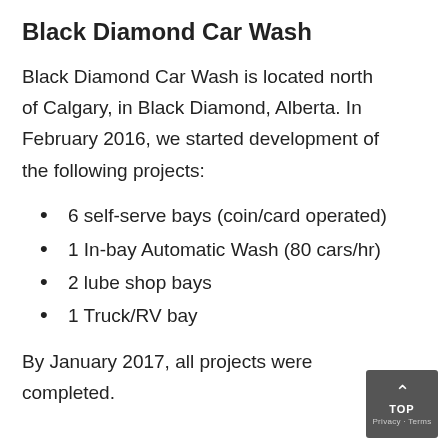Black Diamond Car Wash
Black Diamond Car Wash is located north of Calgary, in Black Diamond, Alberta. In February 2016, we started development of the following projects:
6 self-serve bays (coin/card operated)
1 In-bay Automatic Wash (80 cars/hr)
2 lube shop bays
1 Truck/RV bay
By January 2017, all projects were completed.